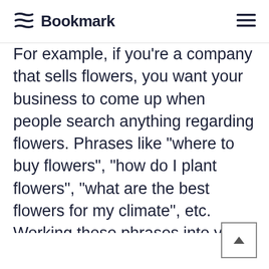Bookmark
For example, if you’re a company that sells flowers, you want your business to come up when people search anything regarding flowers. Phrases like “where to buy flowers”, “how do I plant flowers”, “what are the best flowers for my climate”, etc. Working those phrases into your blogs will have your site come up when people search them.